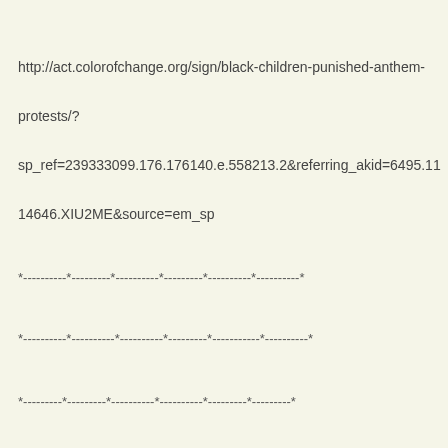http://act.colorofchange.org/sign/black-children-punished-anthem-protests/?sp_ref=239333099.176.176140.e.558213.2&amp;referring_akid=6495.1114646.XIU2ME&amp;source=em_sp
*----------*---------*----------*---------*----------*----------*
*----------*----------*----------*---------*-----------*----------*
*---------*---------*----------*----------*---------*---------*